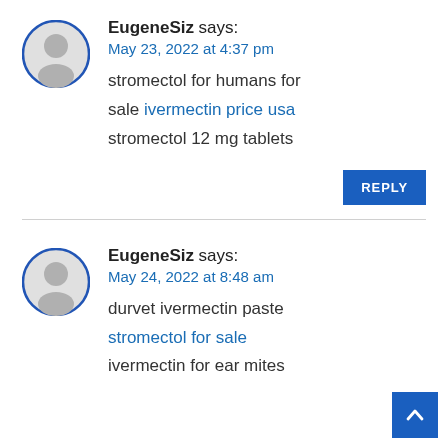EugeneSiz says:
May 23, 2022 at 4:37 pm
stromectol for humans for sale ivermectin price usa stromectol 12 mg tablets
REPLY
EugeneSiz says:
May 24, 2022 at 8:48 am
durvet ivermectin paste stromectol for sale ivermectin for ear mites